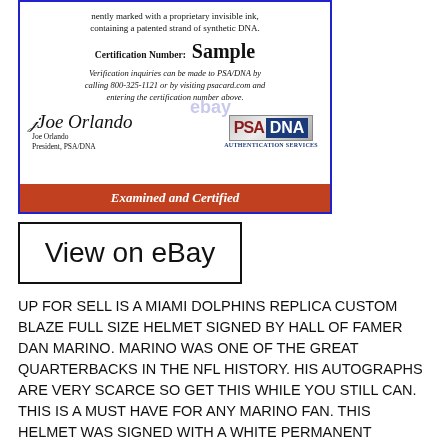[Figure (photo): PSA/DNA authentication certificate showing certification number 'Sample', signature of Joe Orlando (President, PSA/DNA), PSA/DNA Authentication Services logo, verification inquiry text, and red 'Examined and Certified' bar at bottom. Blue border around certificate. eBay watermark visible.]
[Figure (other): Button/link graphic with text 'View on eBay' in large font with black border, eBay watermark in background.]
UP FOR SELL IS A MIAMI DOLPHINS REPLICA CUSTOM BLAZE FULL SIZE HELMET SIGNED BY HALL OF FAMER DAN MARINO. MARINO WAS ONE OF THE GREAT QUARTERBACKS IN THE NFL HISTORY. HIS AUTOGRAPHS ARE VERY SCARCE SO GET THIS WHILE YOU STILL CAN. THIS IS A MUST HAVE FOR ANY MARINO FAN. THIS HELMET WAS SIGNED WITH A WHITE PERMANENT MARKER. THIS WAS SIGNED RECENTLY. THIS HELMET COMES WITH A CERTIFICATE FROM PSA/DNA AND A MATCHING STICKER ON THE HELMET. ALL AUTOGRAPHS